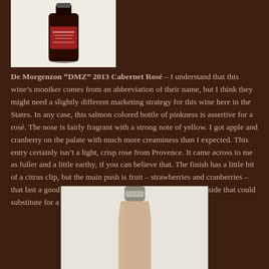[Figure (photo): Top portion of a dark wine bottle with a salmon/rosé colored label, shown against a white/light background]
De Morgenzon “DMZ” 2013 Cabernet Rosé – I understand that this wine’s moniker comes from an abbreviation of their name, but I think they might need a slightly different marketing strategy for this wine here in the States. In any case, this salmon colored bottle of pinkness is assertive for a rosé. The nose is fairly fragrant with a strong note of yellow. I got apple and cranberry on the palate with much more creaminess than I expected. This entry certainly isn’t a light, crisp rose from Provence. It came across to me as fuller and a little earthy, if you can believe that. The finish has a little bit of a citrus clip, but the main push is fruit – strawberries and cranberries – that last a good while. I thought this was a rosé on the richer side that could substitute for a light red. Good value at $12.
[Figure (photo): Bottom portion of a wine bottle showing the foil capsule and upper neck area, against a light grey/white background]